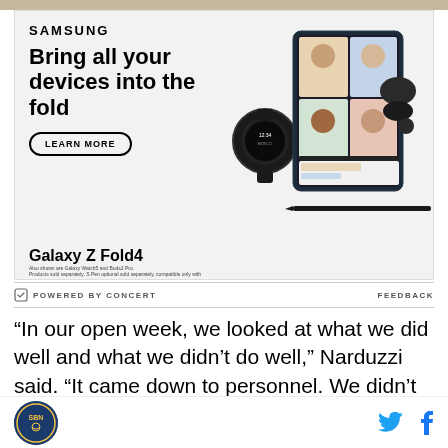[Figure (photo): Samsung Galaxy Z Fold4 advertisement banner with photo of person at top, Samsung wordmark, headline 'Bring all your devices into the fold', Learn More button, product image showing Galaxy Z Fold4 phone, Galaxy Watch5, and Galaxy Buds2 Pro]
POWERED BY CONCERT   FEEDBACK
“In our open week, we looked at what we did well and what we didn’t do well,” Narduzzi said. “It came down to personnel. We didn’t have a tight end. When you
[Figure (logo): Site logo circular badge and social media icons for Twitter and Facebook]